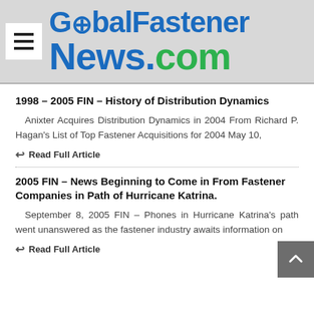[Figure (logo): GlobalFastenerNews.com logo with hamburger menu icon]
1998 – 2005 FIN – History of Distribution Dynamics
Anixter Acquires Distribution Dynamics in 2004 From Richard P. Hagan's List of Top Fastener Acquisitions for 2004 May 10,
Read Full Article
2005 FIN – News Beginning to Come in From Fastener Companies in Path of Hurricane Katrina.
September 8, 2005 FIN – Phones in Hurricane Katrina's path went unanswered as the fastener industry awaits information on
Read Full Article